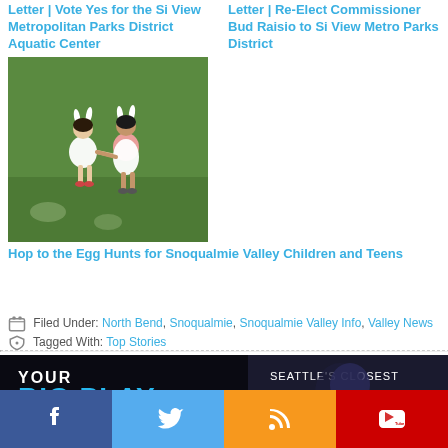Letter | Vote Yes for the Si View Metropolitan Parks District Aquatic Center
Letter | Re-Elect Commissioner Bud Raisio to Si View Metro Parks District
[Figure (photo): Two young girls wearing white bunny ears and white skirts holding hands, viewed from behind, standing on green grass]
Hop to the Egg Hunts for Snoqualmie Valley Children and Teens
Filed Under: North Bend, Snoqualmie, Snoqualmie Valley Info, Valley News   Tagged With: Top Stories
[Figure (photo): Advertisement banner: 'Your Big Play is a Getaway — Seattle's Closest Sportsbook' showing a football player]
[Figure (infographic): Social media share bar with Facebook, Twitter, RSS, and YouTube buttons]